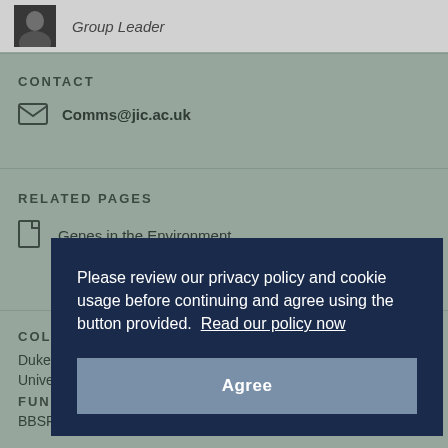[Figure (photo): Small headshot photo of a person wearing dark clothing]
Group Leader
CONTACT
Comms@jic.ac.uk
RELATED PAGES
Genes in the Environment
COL...
Duke...
Unive...
FUN...
BBSR...
Please review our privacy policy and cookie usage before continuing and agree using the button provided.  Read our policy now
Agree